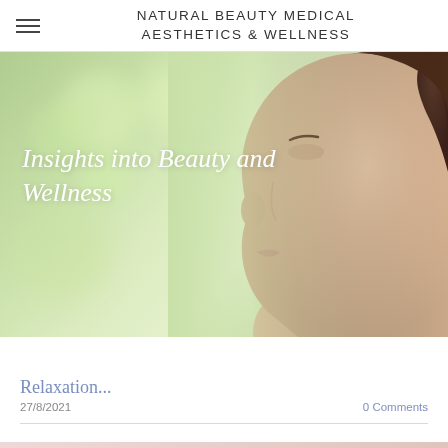NATURAL BEAUTY MEDICAL AESTHETICS & WELLNESS
[Figure (photo): Hero banner image showing a woman's face in profile against a soft green bokeh background, with italic serif text overlay reading 'Insights into Beauty and Wellness']
Relaxation...
27/8/2021
0 Comments